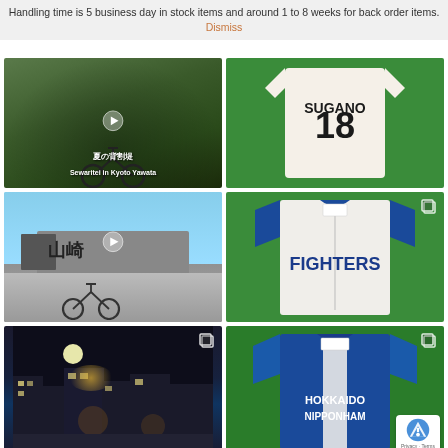Handling time is 5 business day in stock items and around 1 to 8 weeks for back order items. Dismiss
[Figure (photo): Video thumbnail of a bicycle on a forest road with Japanese text overlay '夏の背割堤' and text 'Sewaritei in Kyoto Yawata', play button visible]
[Figure (photo): Baseball jersey on green background, back showing number 18 and name SUGANO]
[Figure (photo): Video thumbnail of a building with Japanese signage and a bicycle in foreground, play button visible]
[Figure (photo): White and blue FIGHTERS baseball jersey on green background with copy icon]
[Figure (photo): Night street scene with city lights]
[Figure (photo): Blue HOKKAIDO NIPPONHAM baseball jersey with copy icon and reCAPTCHA badge]